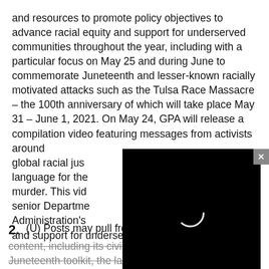and resources to promote policy objectives to advance racial equity and support for underserved communities throughout the year, including with a particular focus on May 25 and during June to commemorate Juneteenth and lesser-known racially motivated attacks such as the Tulsa Race Massacre – the 100th anniversary of which will take place May 31 – June 1, 2021. On May 24, GPA will release a compilation video featuring messages from activists around [obscured] global racial jus[obscured] language for the[obscured] murder. This vid[obscured] senior Departme[obscured] Administration's[obscured] and support for underserved communities.
[Figure (screenshot): Black video player overlay with a loading spinner circle visible, partially obscuring document text. Has a close (x) button in top right corner.]
2. (U) Posts may pull from DRL's library of evergreen content, including its civil rights toolkit and its Juneteenth toolkit, the latter of